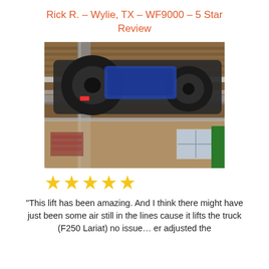Rick R. – Wylie, TX – WF9000 – 5 Star Review
[Figure (photo): Underside view of a vehicle (F250 truck) raised on a four-post lift inside a garage/shop setting. Large tires and undercarriage visible from below.]
★★★★★
"This lift has been amazing. And I think there might have just been some air still in the lines cause it lifts the truck (F250 Lariat) no issue... er adjusted the